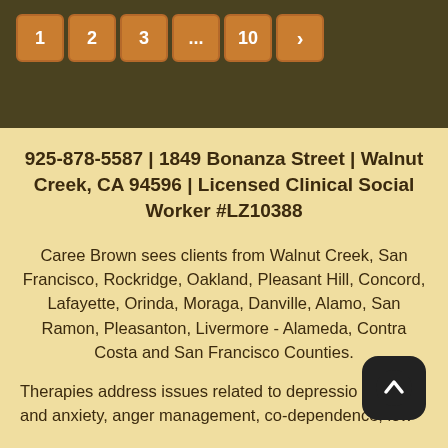1 2 3 ... 10 >
925-878-5587 | 1849 Bonanza Street | Walnut Creek, CA 94596 | Licensed Clinical Social Worker #LZ10388
Caree Brown sees clients from Walnut Creek, San Francisco, Rockridge, Oakland, Pleasant Hill, Concord, Lafayette, Orinda, Moraga, Danville, Alamo, San Ramon, Pleasanton, Livermore - Alameda, Contra Costa and San Francisco Counties.
Therapies address issues related to depression, anger management, co-dependence, low